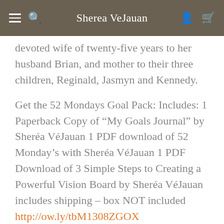Sherea VeJauan
devoted wife of twenty-five years to her husband Brian, and mother to their three children, Reginald, Jasmyn and Kennedy.
Get the 52 Mondays Goal Pack: Includes: 1 Paperback Copy of “My Goals Journal” by Sheréa VéJauan 1 PDF download of 52 Monday’s with Sheréa VéJauan 1 PDF Download of 3 Simple Steps to Creating a Powerful Vision Board by Sheréa VéJauan includes shipping – box NOT included http://ow.ly/tbM1308ZGOX